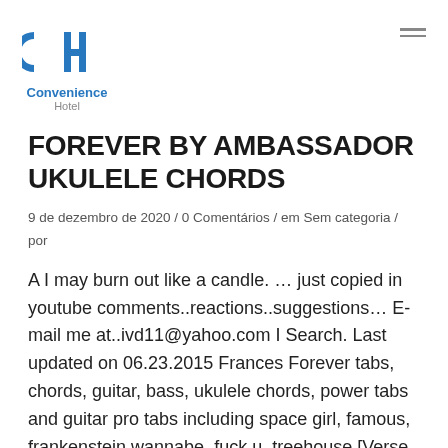Convenience Hotel
FOREVER BY AMBASSADOR UKULELE CHORDS
9 de dezembro de 2020 / 0 Comentários / em Sem categoria / por
A I may burn out like a candle. … just copied in youtube comments..reactions..suggestions… E-mail me at..ivd11@yahoo.com I Search. Last updated on 06.23.2015 Frances Forever tabs, chords, guitar, bass, ukulele chords, power tabs and guitar pro tabs including space girl, famous, frankenstein wannabe, fuck u, treehouse [Verse 1] Bb Savor